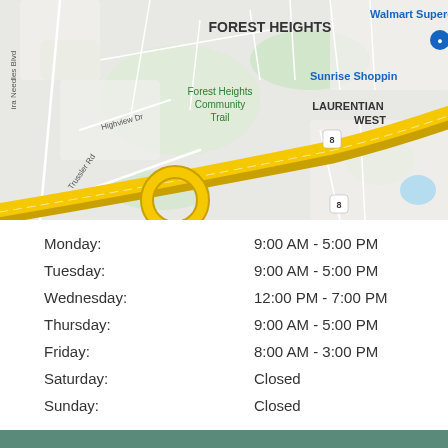[Figure (map): Google Maps view showing Forest Heights neighborhood, Forest Heights Community Trail, Highway 8, Laurentian West, Sunrise Shopping area, Walmart Supercenter, Highview Dr, Trussler Rd, and Ottawa St S in Kitchener/Waterloo area.]
| Day | Hours |
| --- | --- |
| Monday: | 9:00 AM - 5:00 PM |
| Tuesday: | 9:00 AM - 5:00 PM |
| Wednesday: | 12:00 PM - 7:00 PM |
| Thursday: | 9:00 AM - 5:00 PM |
| Friday: | 8:00 AM - 3:00 PM |
| Saturday: | Closed |
| Sunday: | Closed |